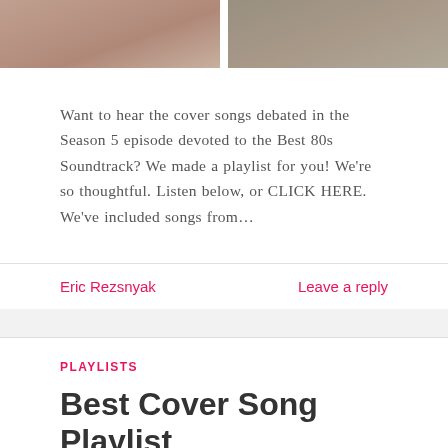[Figure (photo): Two side-by-side photos partially visible at the top of the page, separated by a white gap. Left photo appears to show people outdoors in warm tones. Right photo shows a group of people.]
Want to hear the cover songs debated in the Season 5 episode devoted to the Best 80s Soundtrack? We made a playlist for you! We're so thoughtful. Listen below, or CLICK HERE. We've included songs from…
Eric Rezsnyak
Leave a reply
PLAYLISTS
Best Cover Song Playlist